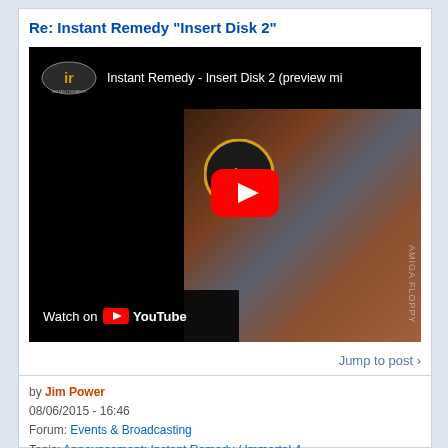Re: Instant Remedy "Insert Disk 2"
[Figure (screenshot): YouTube video thumbnail for 'Instant Remedy - Insert Disk 2 (preview mi...' showing an Instant Remedy floppy disk and cooked meat, with a red play button overlay and 'Watch on YouTube' bar]
Jump to post ›
by Jim Power
08/06/2015 - 16:46
Forum: Events & Broadcasting
Topic: Announcement: Instant Remedy / Immortal 4
Replies: 86
Views: 109019